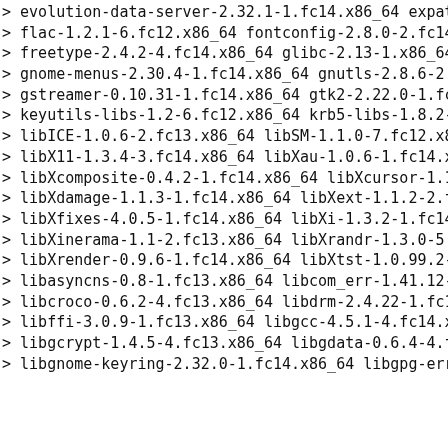> evolution-data-server-2.32.1-1.fc14.x86_64 expat-2.0.1-10.fc13.x86_64
> flac-1.2.1-6.fc12.x86_64 fontconfig-2.8.0-2.fc14.x86_64
> freetype-2.4.2-4.fc14.x86_64 glibc-2.13-1.x86_64
> gnome-menus-2.30.4-1.fc14.x86_64 gnutls-2.8.6-2.fc14.x86_64
> gstreamer-0.10.31-1.fc14.x86_64 gtk2-2.22.0-1.fc14.1.x86_64
> keyutils-libs-1.2-6.fc12.x86_64 krb5-libs-1.8.2-7.fc14.x86_64
> libICE-1.0.6-2.fc13.x86_64 libSM-1.1.0-7.fc12.x86_64
> libX11-1.3.4-3.fc14.x86_64 libXau-1.0.6-1.fc14.x86_64
> libXcomposite-0.4.2-1.fc14.x86_64 libXcursor-1.1.10-5.fc14.x86_64
> libXdamage-1.1.3-1.fc14.x86_64 libXext-1.1.2-2.fc14.x86_64
> libXfixes-4.0.5-1.fc14.x86_64 libXi-1.3.2-1.fc14.x86_64
> libXinerama-1.1-2.fc13.x86_64 libXrandr-1.3.0-5.fc13.x86_64
> libXrender-0.9.6-1.fc14.x86_64 libXtst-1.0.99.2-3.fc12.x86_64
> libasyncns-0.8-1.fc13.x86_64 libcom_err-1.41.12-6.fc14.x86_64
> libcroco-0.6.2-4.fc13.x86_64 libdrm-2.4.22-1.fc14.x86_64
> libffi-3.0.9-1.fc13.x86_64 libgcc-4.5.1-4.fc14.x86_64
> libgcrypt-1.4.5-4.fc13.x86_64 libgdata-0.6.4-4.fc14.x86_64
> libgnome-keyring-2.32.0-1.fc14.x86_64 libgpg-error-1.9-1.fc14.x86_64